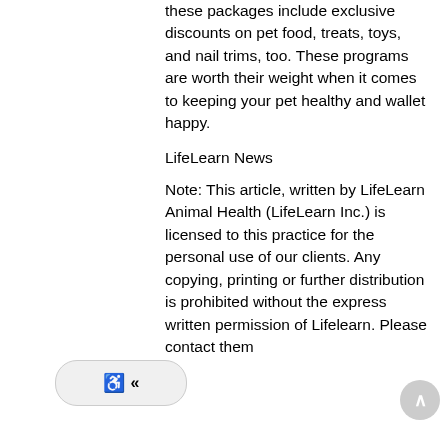these packages include exclusive discounts on pet food, treats, toys, and nail trims, too. These programs are worth their weight when it comes to keeping your pet healthy and wallet happy.
LifeLearn News
Note: This article, written by LifeLearn Animal Health (LifeLearn Inc.) is licensed to this practice for the personal use of our clients. Any copying, printing or further distribution is prohibited without the express written permission of Lifelearn. Please contact them...